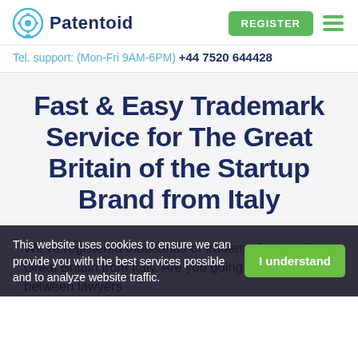[Figure (logo): Patentoid logo: circular icon with gear/eye motif and text 'Patentoid']
Tel. support: (Mon-Fri 9AM-6PM) +44 7520 644428
Fast & Easy Trademark Service for The Great Britain of the Startup Brand from Italy
We've registered thousands of trademarks over the Great Britain from Italy. Are you going back and forth between lawyers
This website uses cookies to ensure we can provide you with the best services possible and to analyze website traffic.